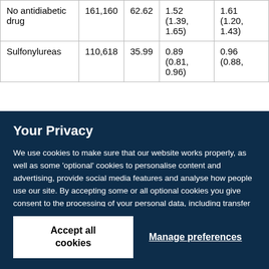| No antidiabetic drug | 161,160 | 62.62 | 1.52 (1.39, 1.65) | 1.61 (1.20, 1.43) |
| Sulfonylureas | 110,618 | 35.99 | 0.89 (0.81, 0.96) | 0.96 (0.88, …) |
Your Privacy
We use cookies to make sure that our website works properly, as well as some 'optional' cookies to personalise content and advertising, provide social media features and analyse how people use our site. By accepting some or all optional cookies you give consent to the processing of your personal data, including transfer to third parties, some in countries outside of the European Economic Area that do not offer the same data protection standards as the country where you live. You can decide which optional cookies to accept by clicking on 'Manage Settings', where you can also find more information about how your personal data is processed. Further information can be found in our privacy policy.